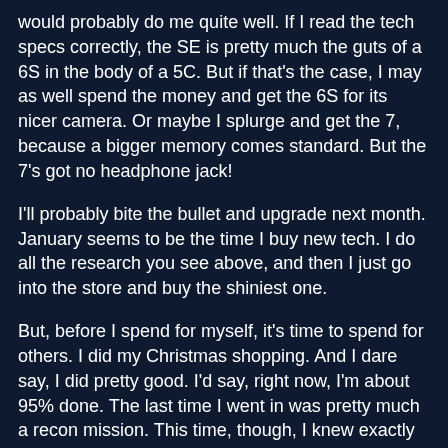would probably do me quite well.  If I read the tech specs correctly, the SE is pretty much the guts of a 6S in the body of a 5C.  But if that's the case, I may as well spend the money and get the 6S for its nicer camera.  Or maybe I splurge and get the 7, because a bigger memory comes standard.  But the 7's got no headphone jack!
I'll probably bite the bullet and upgrade next month.  January seems to be the time I buy new tech.  I do all the research you see above, and then I just go into the store and buy the shiniest one.
But, before I spend for myself, it's time to spend for others.  I did my Christmas shopping.  And I dare say, I did pretty good.  I'd say, right now, I'm about 95% done.  The last time I went in was pretty much a recon mission.  This time, though, I knew exactly what I wanted, so I was able to get in, grab what I needed, and get out.  I was able to call it a day by noon.
But of course I didn't.  Had to see a movie.  I went to see Moana.